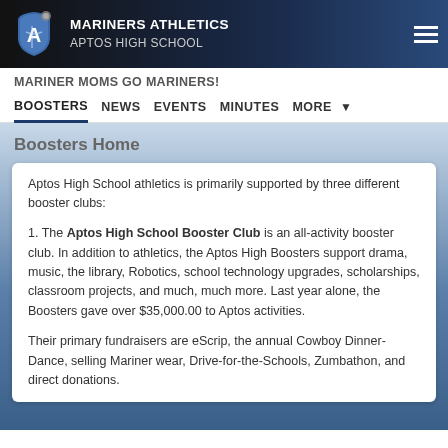MARINERS ATHLETICS APTOS HIGH SCHOOL
MARINER MOMS GO MARINERS!
BOOSTERS   NEWS   EVENTS   MINUTES   MORE
Boosters Home
Aptos High School athletics is primarily supported by three different booster clubs:
1. The Aptos High School Booster Club is an all-activity booster club. In addition to athletics, the Aptos High Boosters support drama, music, the library, Robotics, school technology upgrades, scholarships, classroom projects, and much, much more. Last year alone, the Boosters gave over $35,000.00 to Aptos activities.
Their primary fundraisers are eScrip, the annual Cowboy Dinner-Dance, selling Mariner wear, Drive-for-the-Schools, Zumbathon, and direct donations.